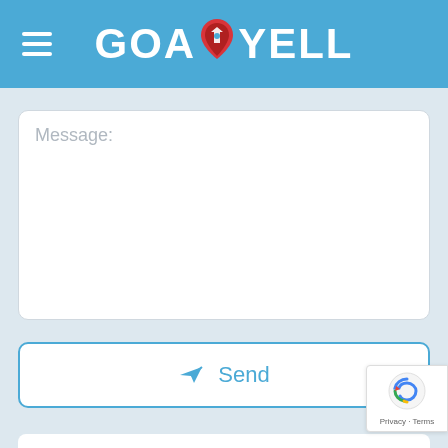GOA YELL
Message:
Send
Own or work here? Claim Now!